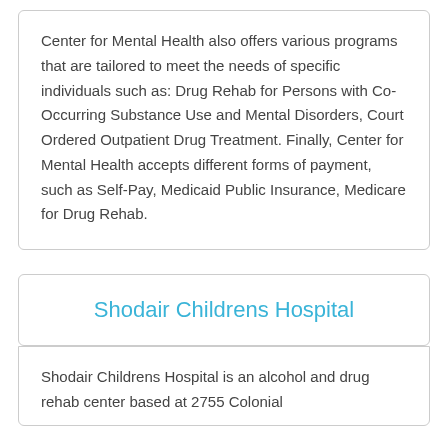Center for Mental Health also offers various programs that are tailored to meet the needs of specific individuals such as: Drug Rehab for Persons with Co-Occurring Substance Use and Mental Disorders, Court Ordered Outpatient Drug Treatment. Finally, Center for Mental Health accepts different forms of payment, such as Self-Pay, Medicaid Public Insurance, Medicare for Drug Rehab.
Shodair Childrens Hospital
Shodair Childrens Hospital is an alcohol and drug rehab center based at 2755 Colonial